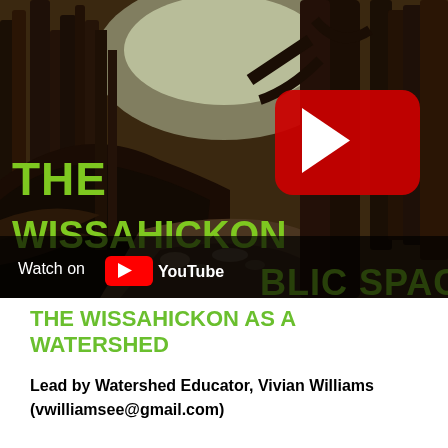Public Space (Refresher Training  5/13/21)
[Figure (screenshot): YouTube video thumbnail showing a forest trail with text 'THE WISSAHICKON PUBLIC SPACE' overlaid in green lettering, with a YouTube play button and 'Watch on YouTube' overlay at the bottom left.]
THE WISSAHICKON AS A WATERSHED
Lead by Watershed Educator, Vivian Williams
(vwilliamsee@gmail.com)